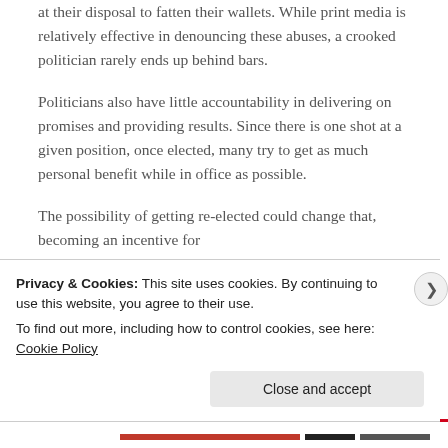at their disposal to fatten their wallets. While print media is relatively effective in denouncing these abuses, a crooked politician rarely ends up behind bars.
Politicians also have little accountability in delivering on promises and providing results. Since there is one shot at a given position, once elected, many try to get as much personal benefit while in office as possible.
The possibility of getting re-elected could change that, becoming an incentive for
Privacy & Cookies: This site uses cookies. By continuing to use this website, you agree to their use.
To find out more, including how to control cookies, see here: Cookie Policy